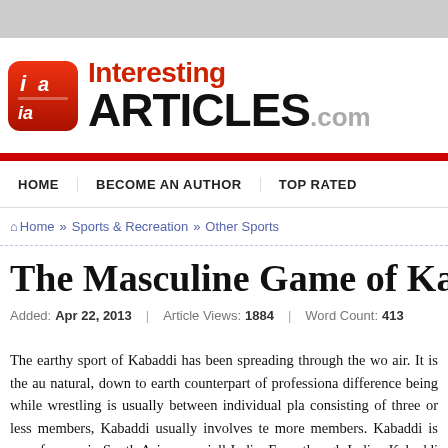[Figure (logo): InterestingArticles.com website logo with red icon and text]
HOME | BECOME AN AUTHOR | TOP RATED
Home » Sports & Recreation » Other Sports
The Masculine Game of Kab
Added: Apr 22, 2013 | Article Views: 1884 | Word Count: 413
The earthy sport of Kabaddi has been spreading through the wo air. It is the au natural, down to earth counterpart of professiona difference being while wrestling is usually between individual pla consisting of three or less members, Kabaddi usually involves te more members. Kabaddi is very famous in South Asia, especiall India. Even though Indian Kabaddi has its roots in India, the cou particular sport as its national recreational activity is Bangladesh